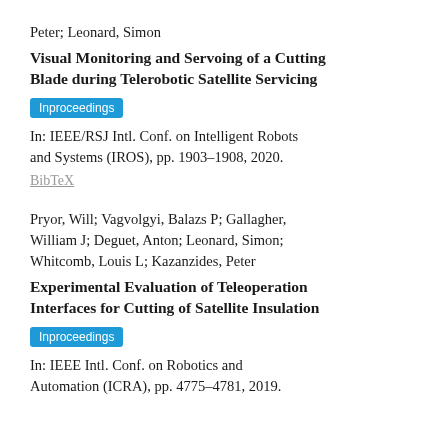Peter; Leonard, Simon
Visual Monitoring and Servoing of a Cutting Blade during Telerobotic Satellite Servicing
Inproceedings
In: IEEE/RSJ Intl. Conf. on Intelligent Robots and Systems (IROS), pp. 1903–1908, 2020.
BibTeX
Pryor, Will; Vagvolgyi, Balazs P; Gallagher, William J; Deguet, Anton; Leonard, Simon; Whitcomb, Louis L; Kazanzides, Peter
Experimental Evaluation of Teleoperation Interfaces for Cutting of Satellite Insulation
Inproceedings
In: IEEE Intl. Conf. on Robotics and Automation (ICRA), pp. 4775–4781, 2019.